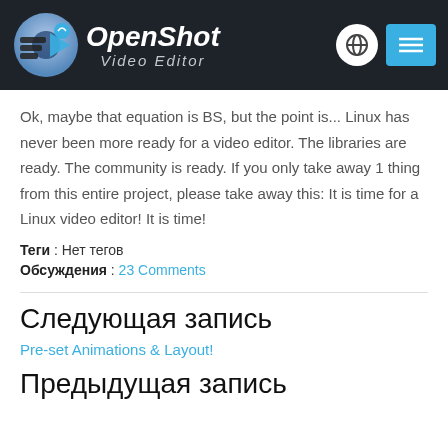[Figure (logo): OpenShot Video Editor logo with dark header background, globe icon, and menu button]
Ok, maybe that equation is BS, but the point is... Linux has never been more ready for a video editor. The libraries are ready. The community is ready. If you only take away 1 thing from this entire project, please take away this: It is time for a Linux video editor! It is time!
Теги : Нет тегов
Обсуждения : 23 Comments
Следующая запись
Pre-set Animations & Layout!
Предыдущая запись